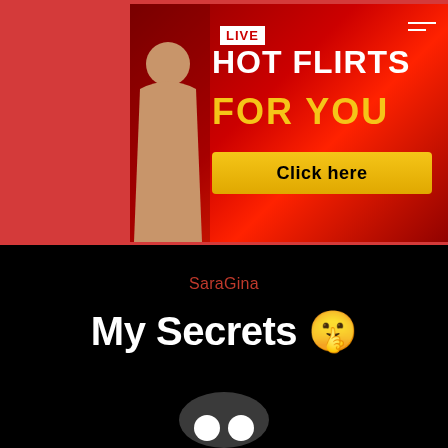[Figure (illustration): Advertisement banner with red background showing a woman in lingerie with text LIVE HOT FLIRTS FOR YOU and a yellow Click here button]
SaraGina
My Secrets 🤫
[Figure (illustration): Partial circular avatar icon at bottom of page showing two white circles on dark grey background, cropped at bottom edge]